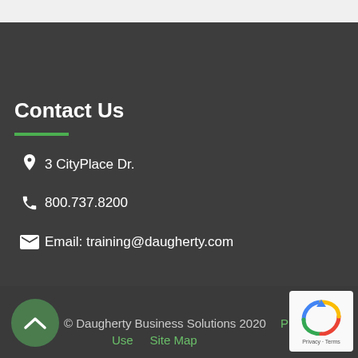Contact Us
3 CityPlace Dr.
800.737.8200
Email: training@daugherty.com
© Daugherty Business Solutions 2020  Privacy  Terms of Use  Site Map